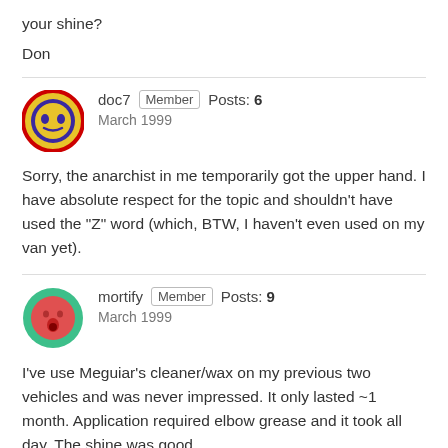your shine?
Don
doc7  Member  Posts: 6  March 1999
Sorry, the anarchist in me temporarily got the upper hand. I have absolute respect for the topic and shouldn't have used the "Z" word (which, BTW, I haven't even used on my van yet).
mortify  Member  Posts: 9  March 1999
I've use Meguiar's cleaner/wax on my previous two vehicles and was never impressed. It only lasted ~1 month. Application required elbow grease and it took all day. The shine was good.
I've recently used Zymol polish, followed by Mother's Pure